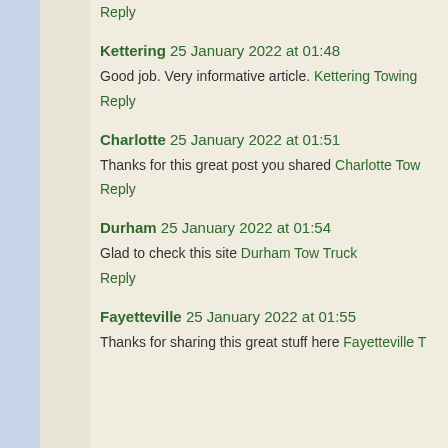Reply
Kettering  25 January 2022 at 01:48
Good job. Very informative article. Kettering Towing
Reply
Charlotte  25 January 2022 at 01:51
Thanks for this great post you shared Charlotte Tow
Reply
Durham  25 January 2022 at 01:54
Glad to check this site Durham Tow Truck
Reply
Fayetteville  25 January 2022 at 01:55
Thanks for sharing this great stuff here Fayetteville T